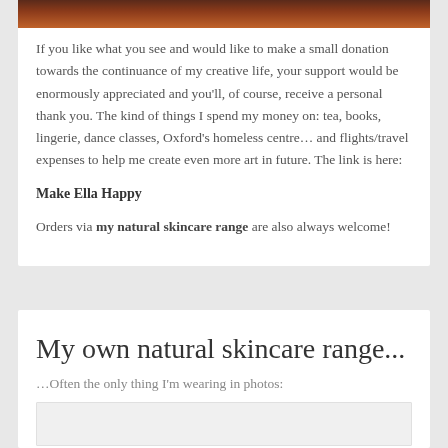[Figure (photo): Partial photo strip at top showing a person with reddish/auburn hair]
If you like what you see and would like to make a small donation towards the continuance of my creative life, your support would be enormously appreciated and you'll, of course, receive a personal thank you. The kind of things I spend my money on: tea, books, lingerie, dance classes, Oxford's homeless centre… and flights/travel expenses to help me create even more art in future. The link is here:
Make Ella Happy
Orders via my natural skincare range are also always welcome!
My own natural skincare range...
…Often the only thing I'm wearing in photos:
[Figure (photo): Photo placeholder box at the bottom]